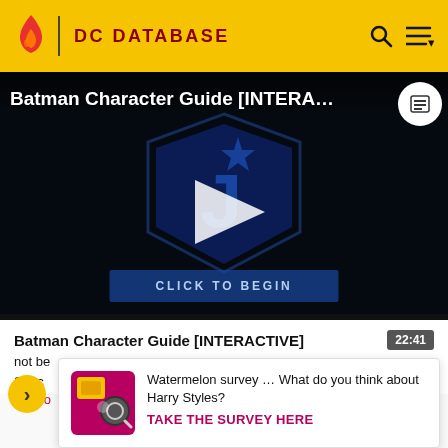DC DATABASE
[Figure (screenshot): Batman Character Guide [INTERA...] video thumbnail with Justice League logo and play button, CLICK TO BEGIN button overlay]
Batman Character Guide [INTERACTIVE]
22:41
not be... Spec... of Hal J...
[Figure (infographic): Ad card: Watermelon survey thumbnail with magnifying glass icon, text: Watermelon survey … What do you think about Harry Styles? TAKE THE SURVEY HERE]